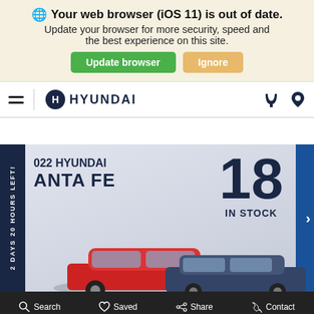Your web browser (iOS 11) is out of date. Update your browser for more security, speed and the best experience on this site.
[Figure (screenshot): Hyundai dealer website screenshot showing browser update banner, Hyundai navigation bar, and a 2022 Hyundai Santa Fe promotion with '18 IN STOCK' badge and countdown timer '2 DAYS 20 HOURS LEFT!']
2022 HYUNDAI SANTA FE
18
IN STOCK
2 DAYS 20 HOURS LEFT!
Search  Saved  Share  Contact